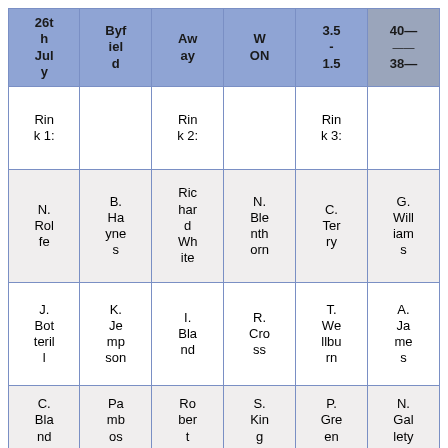| 26th Jul y | Byfield | Away | W ON | 3.5 - 1.5 | 40 - 38 |
| --- | --- | --- | --- | --- | --- |
| Rink 1: |  | Rink 2: |  | Rink 3: |  |
| N. Rolfe | B. Haynes | Richard White | N. Blenthorne | C. Terry | G. Williams |
| J. Botterill | K. Jempson | I. Bland | R. Cross | T. Wellburn | A. James |
| C. Bland | Pa mbos | Robert Wh… | S. King | P. Green | N. Gallety |